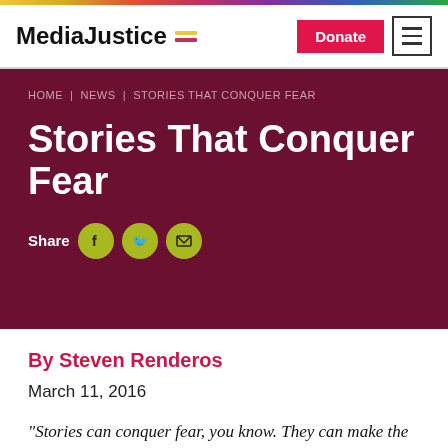MediaJustice
HOME | NEWS | STORIES THAT CONQUER FEAR
Stories That Conquer Fear
Share
By Steven Renderos
March 11, 2016
“Stories can conquer fear, you know. They can make the heart bigger.”